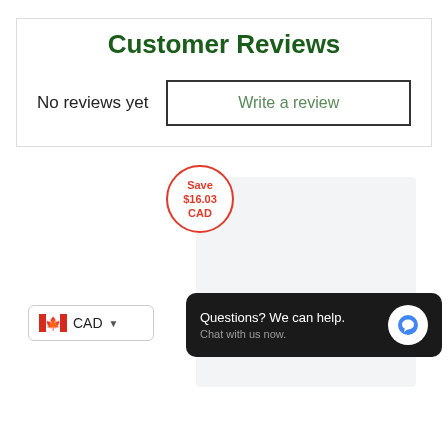Customer Reviews
No reviews yet
Write a review
[Figure (infographic): Save $16.03 CAD badge (red circle), product card (light grey rectangle), chat widget (dark rounded box with 'Questions? We can help. Chat with us now.' text and blue speech bubble icon), Canadian flag currency selector showing CAD, and green bold text 'Alternator | VW/Audi']